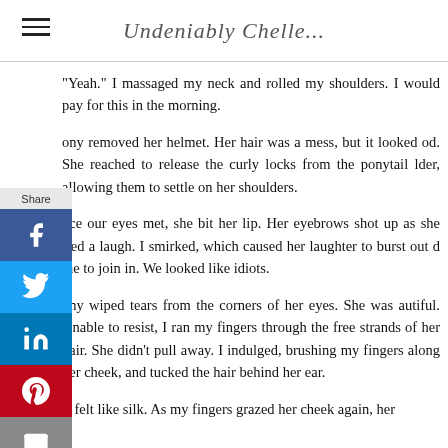Undeniably Chelle...
“Yeah.” I massaged my neck and rolled my shoulders. I would pay for this in the morning.
ony removed her helmet. Her hair was a mess, but it looked od. She reached to release the curly locks from the ponytail lder, allowing them to settle on her shoulders.
nce our eyes met, she bit her lip. Her eyebrows shot up as she fled a laugh. I smirked, which caused her laughter to burst out d me to join in. We looked like idiots.
ony wiped tears from the corners of her eyes. She was autiful. Unable to resist, I ran my fingers through the free strands of her hair. She didn’t pull away. I indulged, brushing my fingers along her cheek, and tucked the hair behind her ear.
It felt like silk. As my fingers grazed her cheek again, her